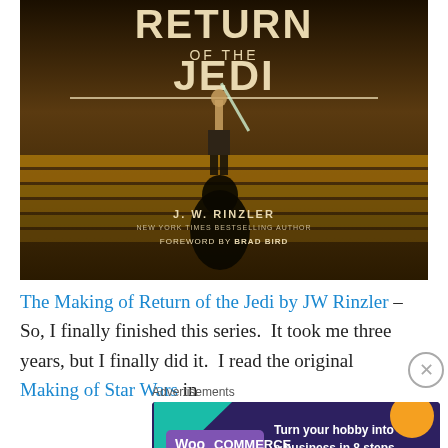[Figure (illustration): Book cover of 'The Making of Return of the Jedi' by J.W. Rinzler, New York Times Bestselling Author, Foreword by Brad Bird. Sepia-toned image showing Luke Skywalker holding a lightsaber on stairs, with Darth Vader in background.]
The Making of Return of the Jedi by JW Rinzler – So, I finally finished this series.  It took me three years, but I finally did it.  I read the original Making of Star Wars in
Advertisements
[Figure (screenshot): WooCommerce advertisement banner with dark blue/purple background, colorful geometric shapes, and text: 'Turn your hobby into a business in 8 steps']